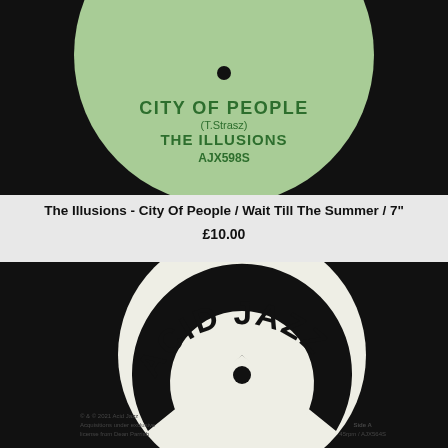[Figure (photo): Top portion of a vinyl record with a light green label showing 'CITY OF PEOPLE (T.Strasz) THE ILLUSIONS AJX598S' on a black vinyl record background]
The Illusions - City Of People / Wait Till The Summer / 7"
£10.00
[Figure (photo): A black vinyl record with a cream/off-white Acid Jazz label showing the 'ACID JAZZ' logo in large bold text arranged in a semi-circle arc, with small text reading '© & © 2021 Acid Jazz Acquisitions under exclusive license from Dean Parrish' on the left and 'Side A 45rpm / AJX564S' on the right]